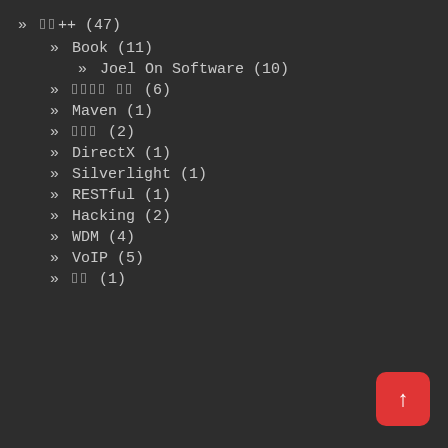» □□++ (47)
» Book (11)
» Joel On Software (10)
» □□□□ □□ (6)
» Maven (1)
» □□□ (2)
» DirectX (1)
» Silverlight (1)
» RESTful (1)
» Hacking (2)
» WDM (4)
» VoIP (5)
» □□ (1)